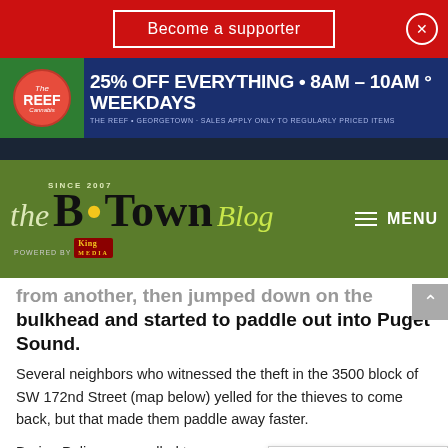[Figure (screenshot): Red banner with 'Become a supporter' button and close X button]
[Figure (screenshot): The Reef Cannabis advertisement: 25% OFF EVERYTHING • 8AM - 10AM ° WEEKDAYS, THE REEF • GEORGETOWN · SALES APPLY ONLY TO REGULARLY PRICED ITEMS]
[Figure (logo): B•Town Blog logo - Since 2007, Powered by King Media, with MENU navigation]
from another, then jumped down on the bulkhead and started to paddle out into Puget Sound.
Several neighbors who witnessed the theft in the 3500 block of SW 172nd Street (map below) yelled for the thieves to come back, but that made them paddle away faster.
Burien Police were called t and they dispatched an off
[Figure (screenshot): English language selector widget with US flag]